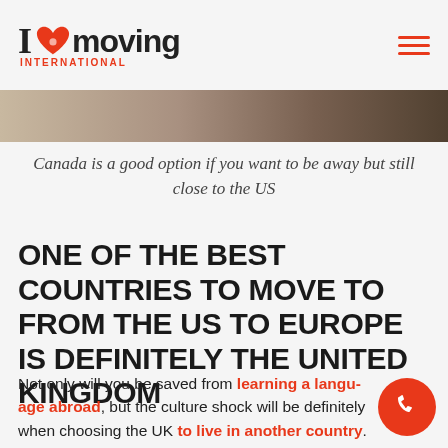I ❤ moving INTERNATIONAL
[Figure (photo): Partial photo strip showing a person outdoors, cropped at the bottom of the header area]
Canada is a good option if you want to be away but still close to the US
ONE OF THE BEST COUNTRIES TO MOVE TO FROM THE US TO EUROPE IS DEFINITELY THE UNITED KINGDOM
Not only will you be saved from learning a language abroad, but the culture shock will be definitely when choosing the UK to live in another country. Also,